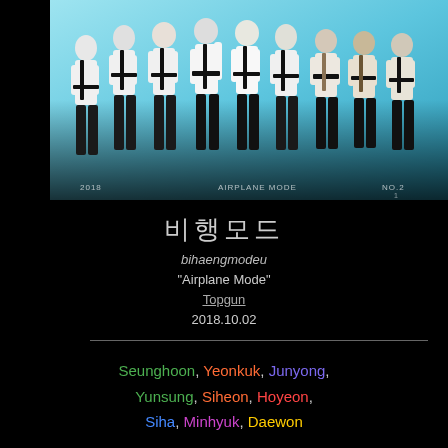[Figure (photo): Group photo of 9 K-pop male artists in white shirts with black harnesses and black pants against a cyan/teal background. Text overlays at bottom read '2018', 'AIRPLANE MODE', 'NO.2']
비행모드
bihaengmodeu
“Airplane Mode”
Topgun
2018.10.02
Seunghoon, Yeonkuk, Junyong, Yunsung, Siheon, Hoyeon, Siha, Minhyuk, Daewon